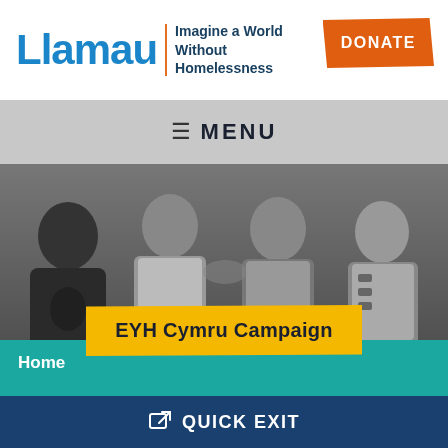[Figure (logo): Llamau charity logo with blue text]
Imagine a World Without Homelessness
DONATE
≡ MENU
[Figure (photo): Grayscale group photo of four young men standing together]
EYH Cymru Campaign
Home
QUICK EXIT